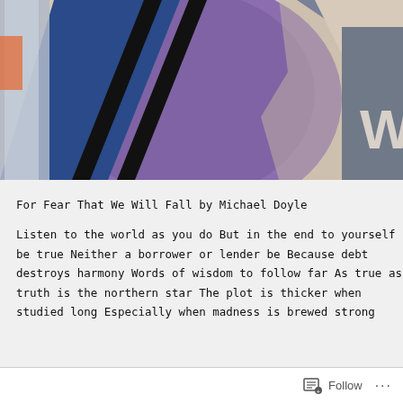[Figure (photo): Close-up photograph of abstract artwork with purple, dark blue, and beige geometric shapes, with a letter W visible on the right side. A phone or book spine is visible on the left edge.]
For Fear That We Will Fall
by Michael Doyle
Listen to the world as you do
But in the end to yourself be true
Neither a borrower or lender be
Because debt destroys harmony

Words of wisdom to follow far
As true as truth is the northern star
The plot is thicker when studied long
Especially when madness is brewed strong
Follow ...